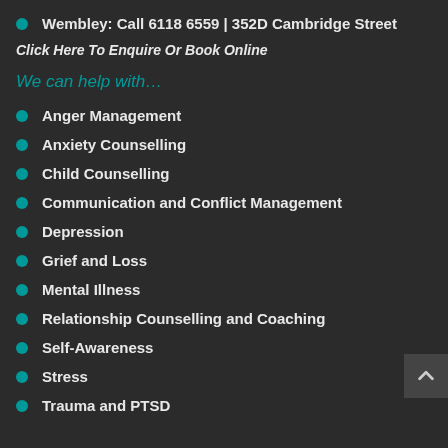Wembley: Call 6118 6559 | 352D Cambridge Street
Click Here To Enquire Or Book Online
We can help with…
Anger Management
Anxiety Counselling
Child Counselling
Communication and Conflict Management
Depression
Grief and Loss
Mental Illness
Relationship Counselling and Coaching
Self-Awareness
Stress
Trauma and PTSD